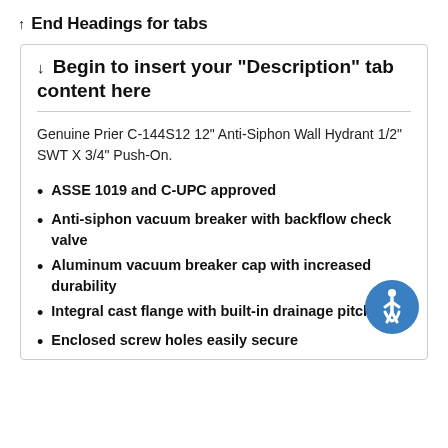↑ End Headings for tabs
↓ Begin to insert your "Description" tab content here
Genuine Prier C-144S12 12" Anti-Siphon Wall Hydrant 1/2" SWT X 3/4" Push-On.
ASSE 1019 and C-UPC approved
Anti-siphon vacuum breaker with backflow check valve
Aluminum vacuum breaker cap with increased durability
Integral cast flange with built-in drainage pitch
Enclosed screw holes easily secure